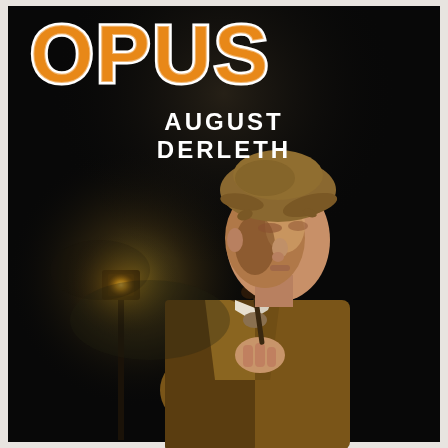[Figure (illustration): Book cover illustration showing a detective figure (Sherlock Holmes-style) in a deerstalker cap and tan overcoat, holding a pipe, looking upward, with a glowing gas street lamp in the foggy dark background. Title text at top reads 'OPUS' in large orange bubble letters with white outline, partially cropped. Author name 'AUGUST DERLETH' in bold white capital letters below the title.]